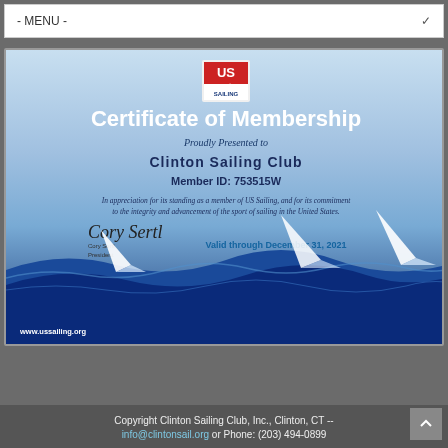- MENU -
[Figure (illustration): US Sailing Certificate of Membership for Clinton Sailing Club, Member ID 753515W, valid through December 31, 2021. Features US Sailing logo, cursive signature of Cory Sertl President, wave and sailboat decorative elements, and website www.ussailing.org]
Copyright Clinton Sailing Club, Inc., Clinton, CT -- info@clintonsail.org or Phone: (203) 494-0899